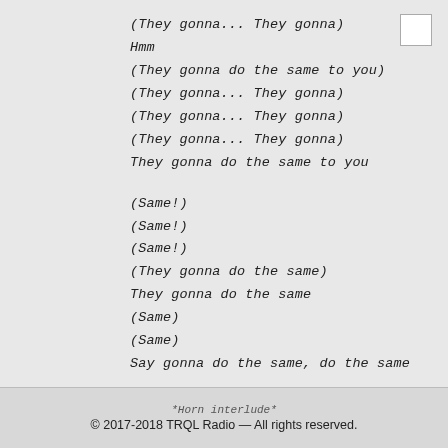(They gonna... They gonna)
Hmm
(They gonna do the same to you)
(They gonna... They gonna)
(They gonna... They gonna)
(They gonna... They gonna)
They gonna do the same to you
(Same!)
(Same!)
(Same!)
(They gonna do the same)
They gonna do the same
(Same)
(Same)
Say gonna do the same, do the same
*Horn interlude*
© 2017-2018 TRQL Radio — All rights reserved.